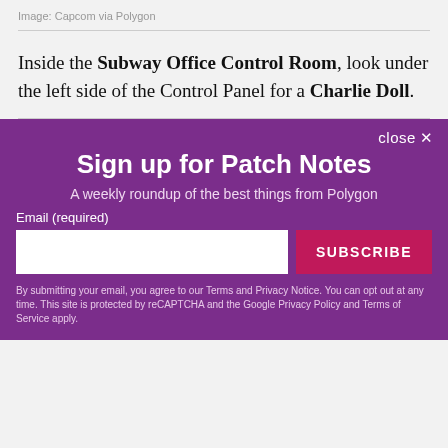Image: Capcom via Polygon
Inside the Subway Office Control Room, look under the left side of the Control Panel for a Charlie Doll.
close ×
Sign up for Patch Notes
A weekly roundup of the best things from Polygon
Email (required)
SUBSCRIBE
By submitting your email, you agree to our Terms and Privacy Notice. You can opt out at any time. This site is protected by reCAPTCHA and the Google Privacy Policy and Terms of Service apply.